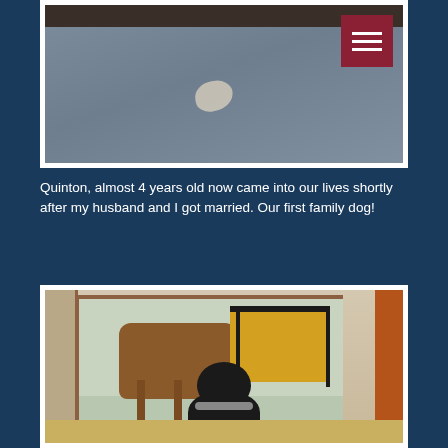[Figure (photo): Photo showing a gray/blue surface (possibly a laptop lid or table) with a white spot/stain on it, viewed from above. A dark wooden ceiling beam is visible at the top. A dark red hamburger menu button is in the upper right corner.]
Quinton, almost 4 years old now came into our lives shortly after my husband and I got married. Our first family dog!
[Figure (photo): Photo of two dogs in a hallway/doorway. A black dog is in the foreground facing the camera, and a brown dog is visible in the background through a doorway with yellow chairs visible in the room beyond. There is an orange/red wooden door frame on the right.]